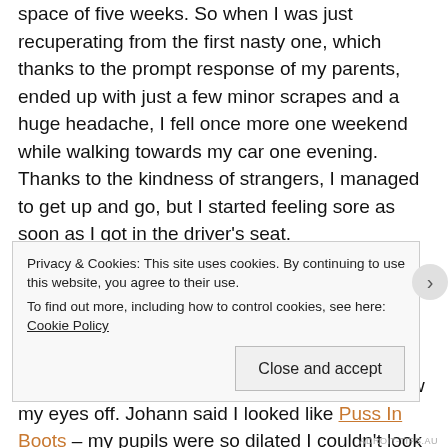space of five weeks. So when I was just recuperating from the first nasty one, which thanks to the prompt response of my parents, ended up with just a few minor scrapes and a huge headache, I fell once more one weekend while walking towards my car one evening. Thanks to the kindness of strangers, I managed to get up and go, but I started feeling sore as soon as I got in the driver's seat.
During the next three weeks there was no way I could spend more than 10 minutes at a time at my computer writing reviews and doing admin. I worked around this with hot packs on my back, and a round of Norgesic tablets that almost blew my eyes off. Johann said I looked like Puss In Boots – my pupils were so dilated I couldn't look at a TV or computer screen for
Privacy & Cookies: This site uses cookies. By continuing to use this website, you agree to their use.
To find out more, including how to control cookies, see here: Cookie Policy
Close and accept
ADROIT-TIPS.AU